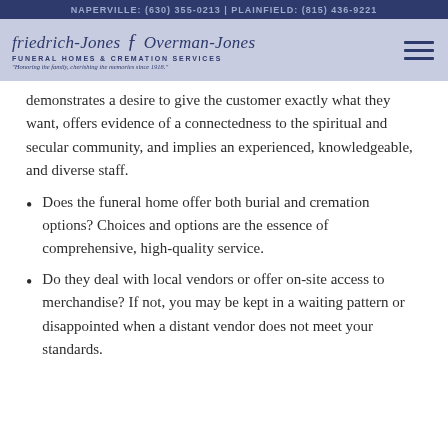NAPERVILLE: (630) 355-0213 | PLAINFIELD: (815) 436-9221
[Figure (logo): Friedrich-Jones and Overman-Jones Funeral Homes & Cremation Services logo with tagline 'Honoring the family, cherishing the memories since 1918.']
demonstrates a desire to give the customer exactly what they want, offers evidence of a connectedness to the spiritual and secular community, and implies an experienced, knowledgeable, and diverse staff.
Does the funeral home offer both burial and cremation options? Choices and options are the essence of comprehensive, high-quality service.
Do they deal with local vendors or offer on-site access to merchandise? If not, you may be kept in a waiting pattern or disappointed when a distant vendor does not meet your standards.